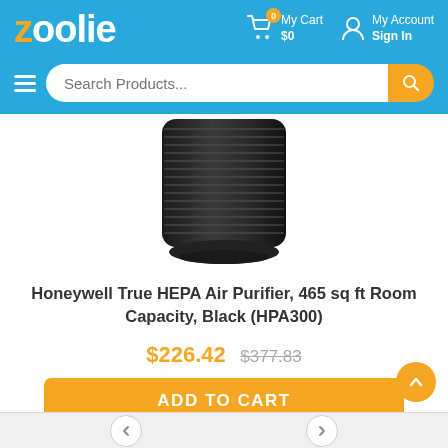zoolie — My Cart $0 | My Account Sign In
Search Products...
[Figure (photo): Honeywell True HEPA Air Purifier HPA300, black cylindrical air purifier viewed from a slight angle showing ribbed exterior design]
Honeywell True HEPA Air Purifier, 465 sq ft Room Capacity, Black (HPA300)
$226.42  $377.83
ADD TO CART